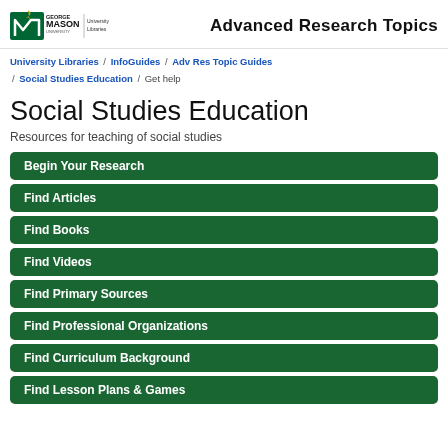[Figure (logo): George Mason University Libraries logo with green and gold M, and 'University Libraries' text beside it]
Advanced Research Topics
University Libraries / InfoGuides / Adv Res Topic Guides / Social Studies Education / Get help
Social Studies Education
Resources for teaching of social studies
Begin Your Research
Find Articles
Find Books
Find Videos
Find Primary Sources
Find Professional Organizations
Find Curriculum Background
Find Lesson Plans & Games